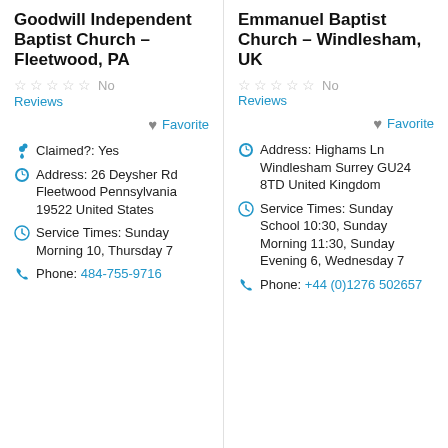Goodwill Independent Baptist Church – Fleetwood, PA
No Reviews
Favorite
Claimed?: Yes
Address: 26 Deysher Rd Fleetwood Pennsylvania 19522 United States
Service Times: Sunday Morning 10, Thursday 7
Phone: 484-755-9716
Emmanuel Baptist Church – Windlesham, UK
No Reviews
Favorite
Address: Highams Ln Windlesham Surrey GU24 8TD United Kingdom
Service Times: Sunday School 10:30, Sunday Morning 11:30, Sunday Evening 6, Wednesday 7
Phone: +44 (0)1276 502657